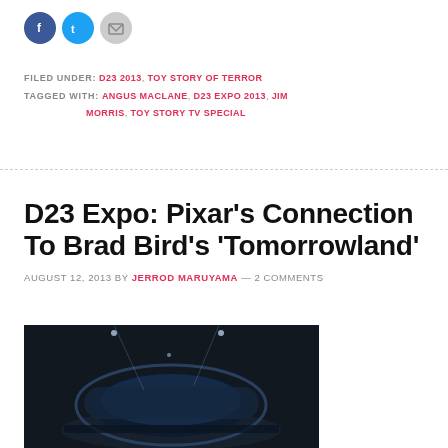[Figure (other): Social media sharing icons: Facebook (blue circle), Twitter (blue circle), Email (gray circle)]
FILED UNDER: D23 2013, TOY STORY OF TERROR
TAGGED WITH: ANGUS MACLANE, D23 EXPO 2013, JIM MORRIS, TOY STORY TV SPECIAL
D23 Expo: Pixar's Connection To Brad Bird's 'Tomorrowland'
AUGUST 12, 2013 BY JERROD MARUYAMA — 2 COMMENTS
[Figure (photo): Dark stage photo from D23 Expo with spotlights and a large curved display screen]